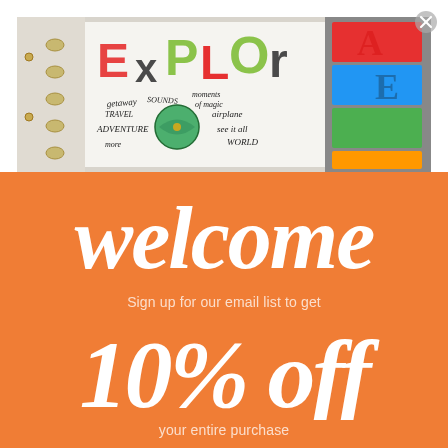[Figure (photo): Close-up photo of a scrapbook/planner with handwritten travel words like 'EXPLORE', 'TRAVEL', 'ADVENTURE', 'getaway', 'moments of magic', 'see it all', etc., with colorful letter stickers and a globe motif.]
welcome
Sign up for our email list to get
10% off
your entire purchase